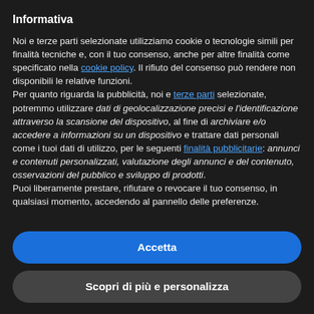Informativa
Noi e terze parti selezionate utilizziamo cookie o tecnologie simili per finalità tecniche e, con il tuo consenso, anche per altre finalità come specificato nella cookie policy. Il rifiuto del consenso può rendere non disponibili le relative funzioni.
Per quanto riguarda la pubblicità, noi e terze parti selezionate, potremmo utilizzare dati di geolocalizzazione precisi e l'identificazione attraverso la scansione del dispositivo, al fine di archiviare e/o accedere a informazioni su un dispositivo e trattare dati personali come i tuoi dati di utilizzo, per le seguenti finalità pubblicitarie: annunci e contenuti personalizzati, valutazione degli annunci e del contenuto, osservazioni del pubblico e sviluppo di prodotti.
Puoi liberamente prestare, rifiutare o revocare il tuo consenso, in qualsiasi momento, accedendo al pannello delle preferenze.
Accetta
Scopri di più e personalizza